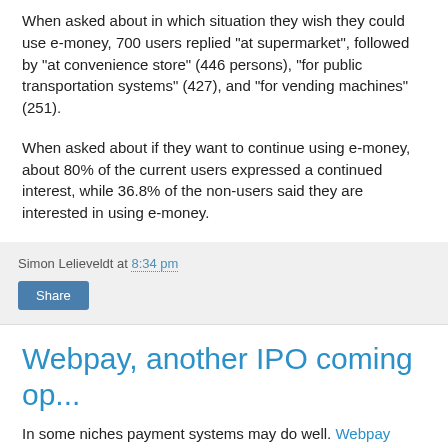When asked about in which situation they wish they could use e-money, 700 users replied "at supermarket", followed by "at convenience store" (446 persons), "for public transportation systems" (427), and "for vending machines" (251).
When asked about if they want to continue using e-money, about 80% of the current users expressed a continued interest, while 36.8% of the non-users said they are interested in using e-money.
Simon Lelieveldt at 8:34 pm
Webpay, another IPO coming op...
In some niches payment systems may do well. Webpay operates in the digital content domain and has just raised 20 million euro for further expansion. After which the investment